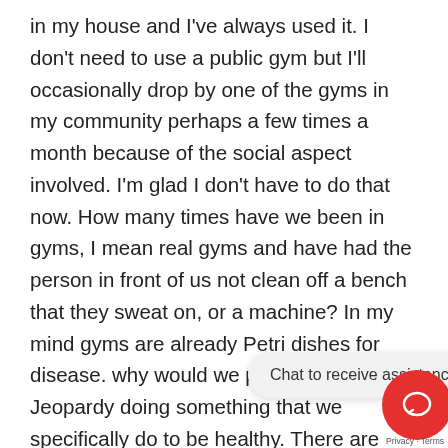in my house and I've always used it. I don't need to use a public gym but I'll occasionally drop by one of the gyms in my community perhaps a few times a month because of the social aspect involved. I'm glad I don't have to do that now. How many times have we been in gyms, I mean real gyms and have had the person in front of us not clean off a bench that they sweat on, or a machine? In my mind gyms are already Petri dishes for disease. why would we put ourselves in Jeopardy doing something that we specifically do to be healthy. There are plenty of household items you can use to have a really good workout. The elliptical can be replaced by brisk walking and the same b... without the risk of catching covid-19. I don't believe that one person in our government ever thought what would happen if everything reopened and nobody came. The jury is out on all this right now. There ought to be a